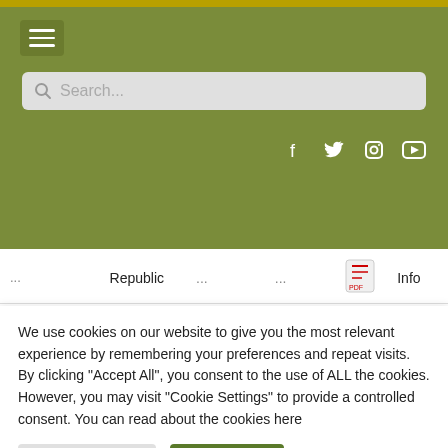Navigation header with hamburger menu, search bar, and social media icons (Facebook, Twitter, Instagram, YouTube)
| Name | Origin | AA% | IBU | PDF | Info |
| --- | --- | --- | --- | --- | --- |
| ... | Republic | ... | ... | [PDF] | Info |
| Wai-iti™ | New Zealand | 2-4% | 23-28 | [PDF] | More Info |
| Waimea™ | New Zealand | 16-19% | 22-24 | [PDF] | More Info |
We use cookies on our website to give you the most relevant experience by remembering your preferences and repeat visits. By clicking "Accept All", you consent to the use of ALL the cookies. However, you may visit "Cookie Settings" to provide a controlled consent. You can read about the cookies here
Cookie Settings  Accept All